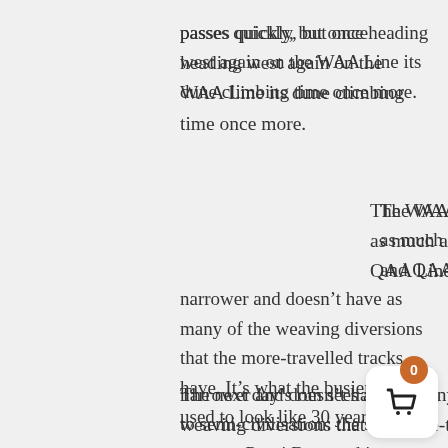passes quickly, but once heading west again on the WAA Line its dune climbing time once more.
The WAA Line isn't used as much as the French and QAA Lines, so it's narrower and doesn't have as many of the weaving diversions that the more-travelled tracks have. It's what the busier tracks used to look like 30 years ago.
The next day's run sees a return to semi-civilisation: the surface water at Purni Bore and its accompanying loo and shower. The bore flow at Purni has been restricted in